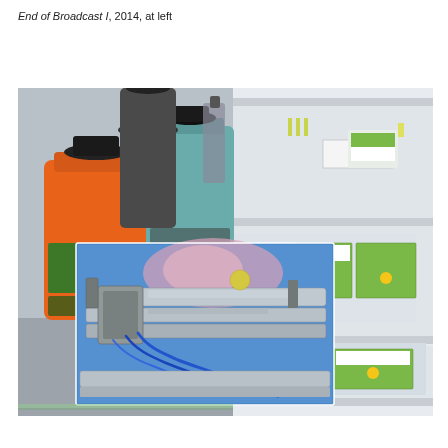End of Broadcast I, 2014, at left
[Figure (photo): Composite photograph showing three overlapping images: left side shows large plastic bottles of colored liquid (orange, teal/grey, dark) on a reflective surface; center overlaid image shows a mechanical/pneumatic industrial device with blue tubing on a blue surface; right side shows refrigerated store shelves stocked with packaged green vegetables (asparagus) in green and white branded packaging.]